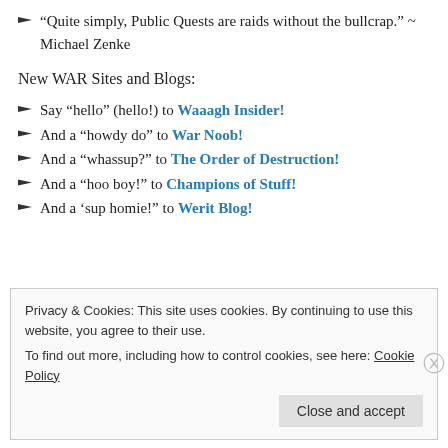“Quite simply, Public Quests are raids without the bullcrap.” ~ Michael Zenke
New WAR Sites and Blogs:
Say “hello” (hello!) to Waaagh Insider!
And a “howdy do” to War Noob!
And a “whassup?” to The Order of Destruction!
And a “hoo boy!” to Champions of Stuff!
And a ‘sup homie!” to Werit Blog!
Privacy & Cookies: This site uses cookies. By continuing to use this website, you agree to their use.
To find out more, including how to control cookies, see here: Cookie Policy